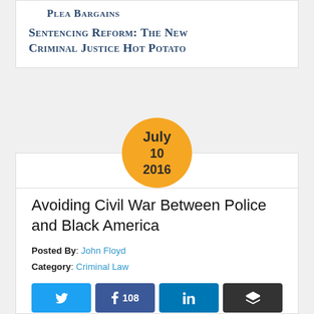[Figure (other): Navigation arrow left with label PLEA BARGAINS]
Sentencing Reform: The New Criminal Justice Hot Potato (navigation link with right arrow)
[Figure (infographic): Orange circle with date: July 10 2016]
Avoiding Civil War Between Police and Black America
Posted By: John Floyd
Category: Criminal Law
[Figure (other): Social share buttons: Twitter, Facebook (108 shares), LinkedIn, Buffer]
There has always been something fundamentally flawed about the relationship between the police and black people